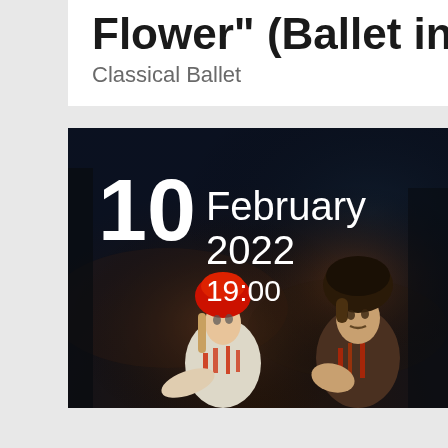Flower" (Ballet in 2 act
Classical Ballet
[Figure (photo): Two ballet performers in Russian folk costumes on a dark stage. A woman wearing a red kokoshnik headpiece and embroidered white blouse, and a man in a dark fur hat and embroidered vest, with date overlay showing 10 February 2022 19:00]